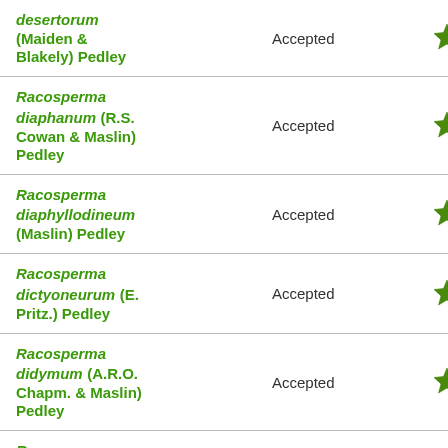| Name | Status |  |
| --- | --- | --- |
| desertorum (Maiden & Blakely) Pedley | Accepted | ★ |
| Racosperma diaphanum (R.S. Cowan & Maslin) Pedley | Accepted | ★ |
| Racosperma diaphyllodineum (Maslin) Pedley | Accepted | ★ |
| Racosperma dictyoneurum (E. Pritz.) Pedley | Accepted | ★ |
| Racosperma didymum (A.R.O. Chapm. & Maslin) Pedley | Accepted | ★ |
| Racosperma dielsii (E. Pritz.) Pedley | Accepted | ★ |
| Racosperma difforme (R.T. ... | Accepted | ★ |